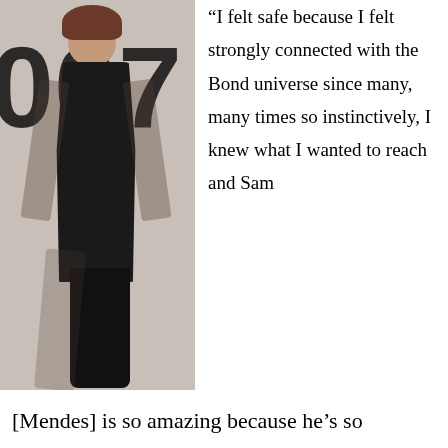[Figure (photo): A woman in a black long gown with sheer sleeves posing in front of a large 007 James Bond logo, styled as a Bond girl promotional photo.]
“I felt safe because I felt strongly connected with the Bond universe since many, many times so instinctively, I knew what I wanted to reach and Sam [Mendes] is so amazing because he’s so brilliant, but more than that, he’s a beautiful human being, with a wonderful sense of humor and you just feel at home and free to